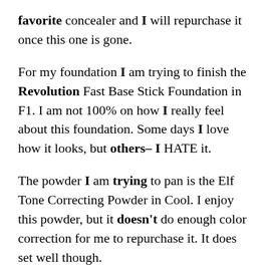favorite concealer and I will repurchase it once this one is gone.
For my foundation I am trying to finish the Revolution Fast Base Stick Foundation in F1. I am not 100% on how I really feel about this foundation. Some days I love how it looks, but others– I HATE it.
The powder I am trying to pan is the Elf Tone Correcting Powder in Cool. I enjoy this powder, but it doesn't do enough color correction for me to repurchase it. It does set well though.
Face color products